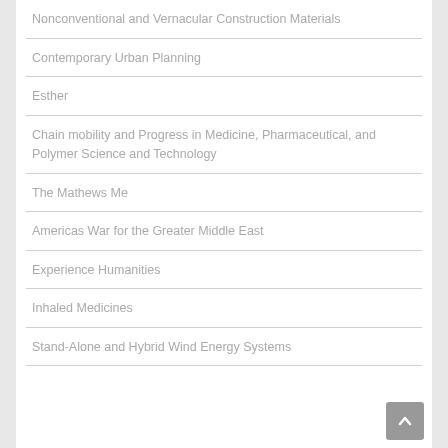Nonconventional and Vernacular Construction Materials
Contemporary Urban Planning
Esther
Chain mobility and Progress in Medicine, Pharmaceutical, and Polymer Science and Technology
The Mathews Me
Americas War for the Greater Middle East
Experience Humanities
Inhaled Medicines
Stand-Alone and Hybrid Wind Energy Systems